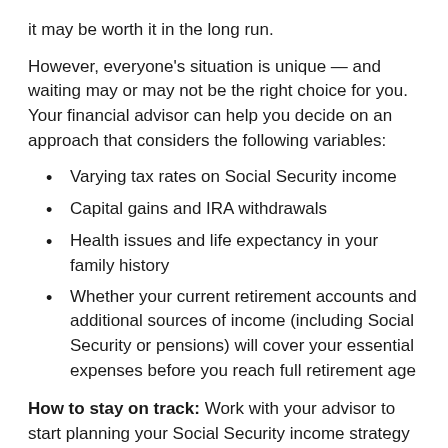it may be worth it in the long run.
However, everyone's situation is unique — and waiting may or may not be the right choice for you. Your financial advisor can help you decide on an approach that considers the following variables:
Varying tax rates on Social Security income
Capital gains and IRA withdrawals
Health issues and life expectancy in your family history
Whether your current retirement accounts and additional sources of income (including Social Security or pensions) will cover your essential expenses before you reach full retirement age
How to stay on track: Work with your advisor to start planning your Social Security income strategy early – the